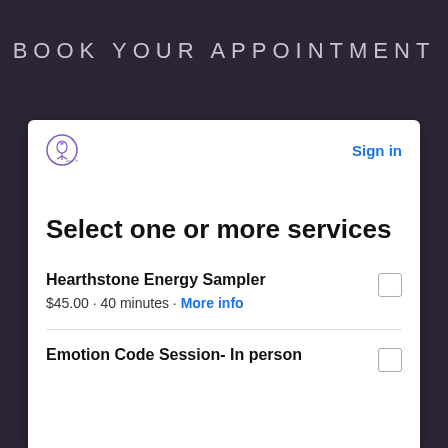BOOK YOUR APPOINTMENT
[Figure (logo): Small circular logo with stylized figure and text]
Sign in
Select one or more services
Hearthstone Energy Sampler — $45.00 · 40 minutes · More info
Emotion Code Session- In person